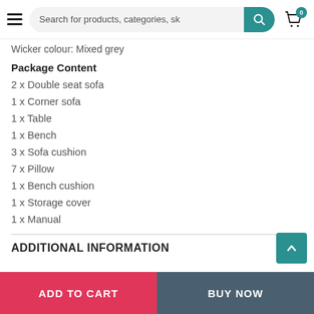Search for products, categories, sk
Wicker colour: Mixed grey
Package Content
2 x Double seat sofa
1 x Corner sofa
1 x Table
1 x Bench
3 x Sofa cushion
7 x Pillow
1 x Bench cushion
1 x Storage cover
1 x Manual
ADDITIONAL INFORMATION
ADD TO CART  BUY NOW